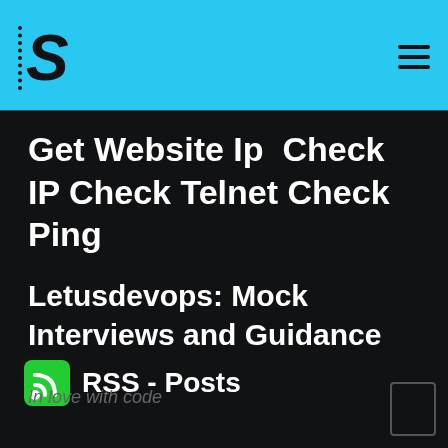S
Get Website Ip  Check IP Check Telnet Check Ping
Letusdevops: Mock Interviews and Guidance
RSS - Posts
In love with code